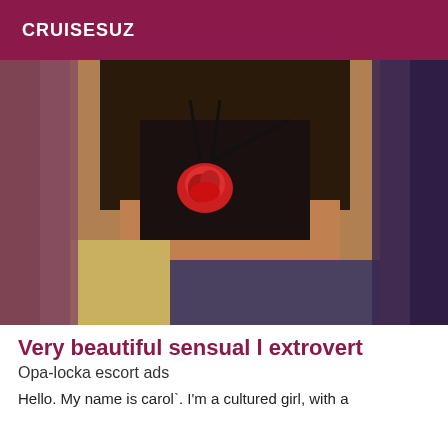CRUISESUZ
[Figure (photo): A person posing in a black bikini with a red rose decoration, photographed indoors. The edges of the image are blurred.]
Very beautiful sensual l extrovert
Opa-locka escort ads
Hello. My name is carol`. I'm a cultured girl, with a